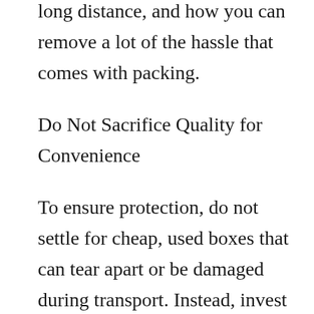Here is what you should know about moving long distance, and how you can remove a lot of the hassle that comes with packing.
Do Not Sacrifice Quality for Convenience
To ensure protection, do not settle for cheap, used boxes that can tear apart or be damaged during transport. Instead, invest in high-quality, durable ones. The best way to go about this is to treat packing as if you are storing something for long term. If you think